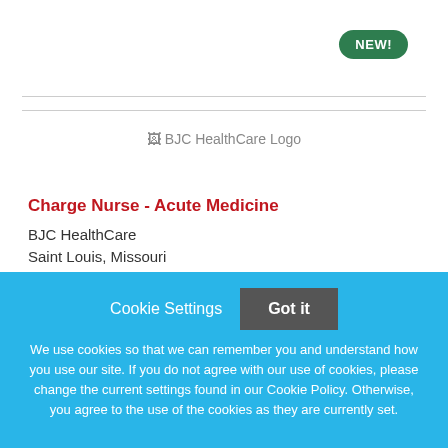[Figure (logo): BJC HealthCare Logo placeholder image]
Charge Nurse - Acute Medicine
BJC HealthCare
Saint Louis, Missouri
Cookie Settings  Got it

We use cookies so that we can remember you and understand how you use our site. If you do not agree with our use of cookies, please change the current settings found in our Cookie Policy. Otherwise, you agree to the use of the cookies as they are currently set.